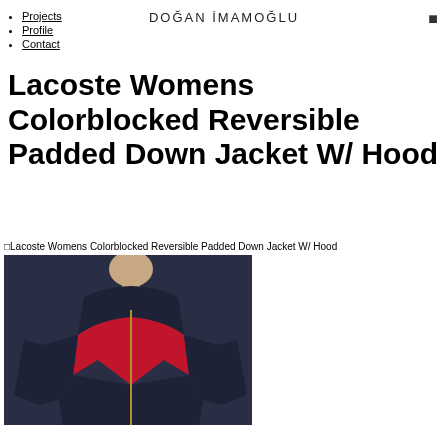DOĞAN İMAMOĞLU
Projects
Profile
Contact
Lacoste Womens Colorblocked Reversible Padded Down Jacket W/ Hood
[Figure (photo): Photo of Lacoste Womens Colorblocked Reversible Padded Down Jacket W/ Hood — a navy and red colorblocked padded jacket with hood, worn by a model, cropped at torso.]